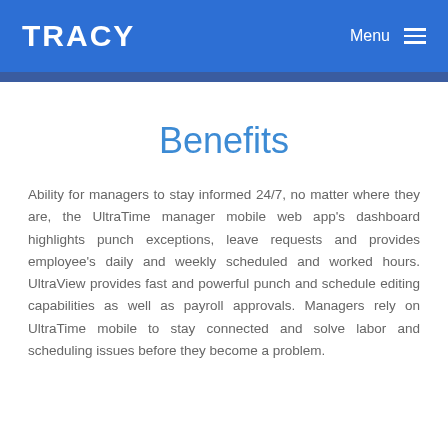TRACY  Menu
Benefits
Ability for managers to stay informed 24/7, no matter where they are, the UltraTime manager mobile web app's dashboard highlights punch exceptions, leave requests and provides employee's daily and weekly scheduled and worked hours. UltraView provides fast and powerful punch and schedule editing capabilities as well as payroll approvals. Managers rely on UltraTime mobile to stay connected and solve labor and scheduling issues before they become a problem.